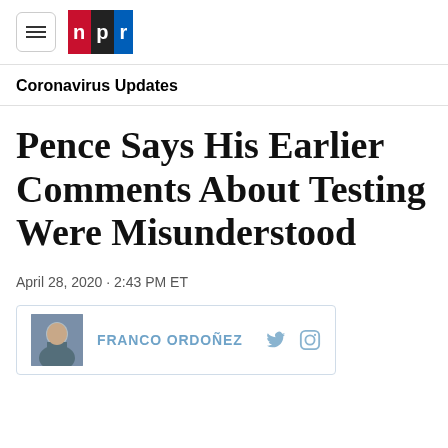NPR
Coronavirus Updates
Pence Says His Earlier Comments About Testing Were Misunderstood
April 28, 2020 · 2:43 PM ET
FRANCO ORDOÑEZ